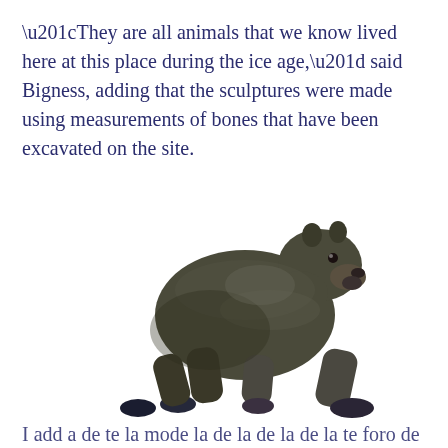“They are all animals that we know lived here at this place during the ice age,” said Bigness, adding that the sculptures were made using measurements of bones that have been excavated on the site.
[Figure (photo): A bronze or dark metal sculpture of a large bear (likely a cave bear or short-faced bear) in a walking pose, photographed against a white background. The sculpture is detailed showing the animal's musculature and fur texture.]
partial text cut off at bottom of page